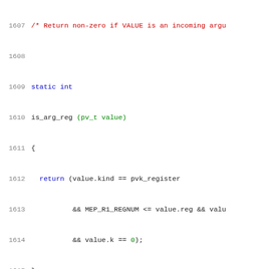Source code listing, lines 1607-1627, C language code for GDB register spill detection
[Figure (screenshot): C source code with syntax highlighting showing functions is_arg_reg and the beginning of is_arg_spill, with line numbers 1607-1627. Comments in red, keywords in blue, identifiers in green.]